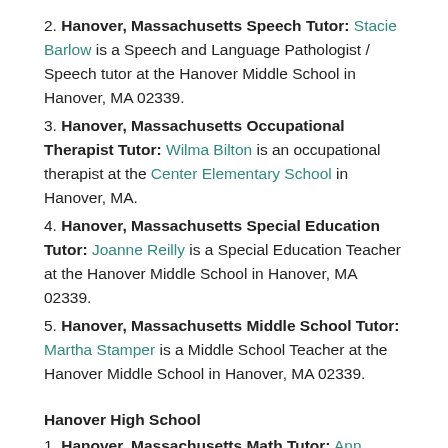2. Hanover, Massachusetts Speech Tutor: Stacie Barlow is a Speech and Language Pathologist / Speech tutor at the Hanover Middle School in Hanover, MA 02339.
3. Hanover, Massachusetts Occupational Therapist Tutor: Wilma Bilton is an occupational therapist at the Center Elementary School in Hanover, MA.
4. Hanover, Massachusetts Special Education Tutor: Joanne Reilly is a Special Education Teacher at the Hanover Middle School in Hanover, MA 02339.
5. Hanover, Massachusetts Middle School Tutor: Martha Stamper is a Middle School Teacher at the Hanover Middle School in Hanover, MA 02339.
Hanover High School
1. Hanover, Massachusetts Math Tutor: Ann Marie